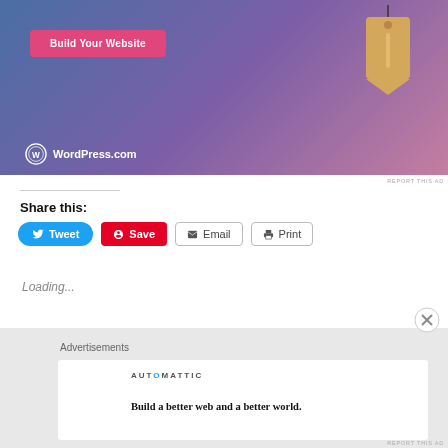[Figure (screenshot): WordPress.com advertisement banner with blue-to-pink gradient background, a pink 'Build Your Website' button, a hanging price tag illustration, and WordPress.com logo at the bottom left.]
REPORT THIS AD
Share this:
[Figure (screenshot): Social sharing buttons row: Tweet (blue, Twitter bird icon), Save (red, Pinterest icon), Email (gray border, envelope icon), Print (gray border, printer icon)]
Loading...
Advertisements
[Figure (screenshot): Automattic advertisement card with logo and tagline 'Build a better web and a better world.']
REPORT THIS AD